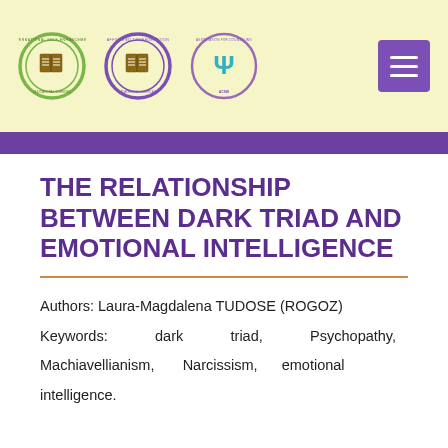[Figure (logo): Three academic/institutional logos in the header banner, plus a purple hamburger menu button on the right]
THE RELATIONSHIP BETWEEN DARK TRIAD AND EMOTIONAL INTELLIGENCE
Authors: Laura-Magdalena TUDOSE (ROGOZ)
Keywords: dark triad, Psychopathy, Machiavellianism, Narcissism, emotional intelligence.